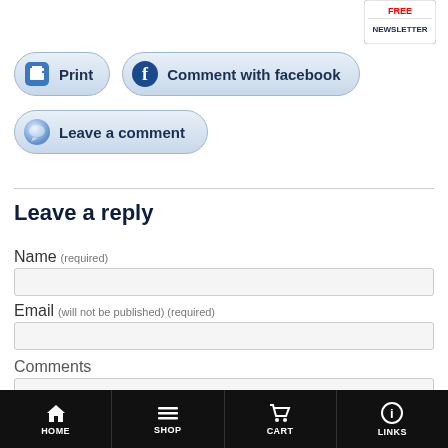[Figure (logo): FREE NEWSLETTER badge/button in top right corner]
[Figure (screenshot): Print button with printer icon]
[Figure (screenshot): Comment with facebook button with Facebook icon]
[Figure (screenshot): Leave a comment button with speech bubble icon]
Leave a reply
Name (required)
Email (will not be published) (required)
Comments
HOME  SHOP  CART  LINKS